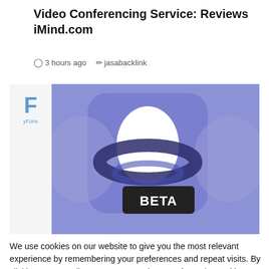Video Conferencing Service: Reviews iMind.com
3 hours ago   jasabacklink
[Figure (screenshot): iMind.com app logo on a purple/blue background with a white teardrop shape and dark orbital ring, with a black BETA badge in the lower right. Left side shows a light gray sidebar with a blue 'F' letter and 'yFons' text.]
We use cookies on our website to give you the most relevant experience by remembering your preferences and repeat visits. By clicking "Accept All", you consent to the use of ALL the cookies. However, you may visit "Cookie Settings" to provide a controlled consent.